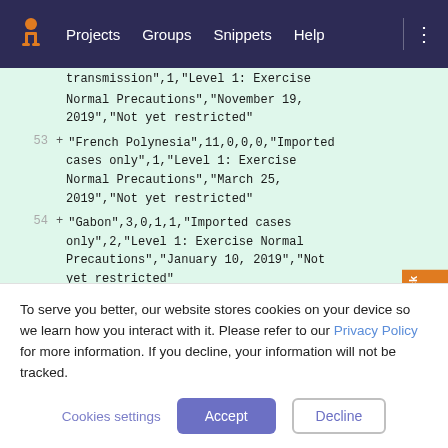Projects  Groups  Snippets  Help
transmission",1,"Level 1: Exercise Normal Precautions","November 19, 2019","Not yet restricted"
53 + "French Polynesia",11,0,0,0,"Imported cases only",1,"Level 1: Exercise Normal Precautions","March 25, 2019","Not yet restricted"
54 + "Gabon",3,0,1,1,"Imported cases only",2,"Level 1: Exercise Normal Precautions","January 10, 2019","Not yet restricted"
55 + "Georgia",43,5,0,0,"Imported cases only",0,"Level 1: Exercise Normal
To serve you better, our website stores cookies on your device so we learn how you interact with it. Please refer to our Privacy Policy for more information. If you decline, your information will not be tracked.